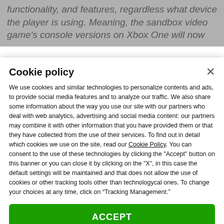functionality, and features, regardless what device the player is using. Meaning, the sandbox video game's console versions on Xbox One will now
Cookie policy
We use cookies and similar technologies to personalize contents and ads, to provide social media features and to analyze our traffic. We also share some information about the way you use our site with our partners who deal with web analytics, advertising and social media content: our partners may combine it with other information that you have provided them or that they have collected from the use of their services. To find out in detail which cookies we use on the site, read our Cookie Policy. You can consent to the use of these technologies by clicking the "Accept" button on this banner or you can close it by clicking on the "X", in this case the default settings will be maintained and that does not allow the use of cookies or other tracking tools other than technologycal ones. To change your choices at any time, click on “Tracking Management.”
ACCEPT
TRACKERS MANAGEMENT
Show vendors | Show purposes